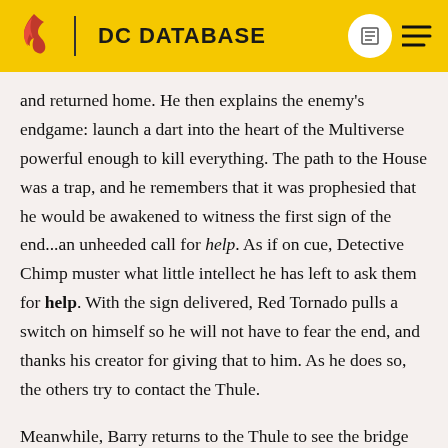DC DATABASE
and returned home. He then explains the enemy's endgame: launch a dart into the heart of the Multiverse powerful enough to kill everything. The path to the House was a trap, and he remembers that it was prophesied that he would be awakened to witness the first sign of the end...an unheeded call for help. As if on cue, Detective Chimp muster what little intellect he has left to ask them for help. With the sign delivered, Red Tornado pulls a switch on himself so he will not have to fear the end, and thanks his creator for giving that to him. As he does so, the others try to contact the Thule.
Meanwhile, Barry returns to the Thule to see the bridge demolished. Raven reveals that they can't steer, which means they can't turn from the House. Their entire ship is